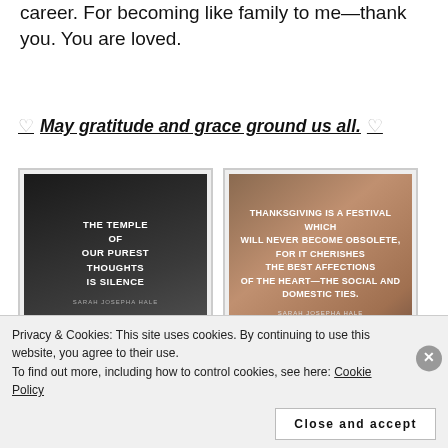career. For becoming like family to me—thank you. You are loved.
♡ May gratitude and grace ground us all. ♡
[Figure (illustration): Dark mountain landscape background with white bold text reading: THE TEMPLE OF OUR PUREST THOUGHTS IS SILENCE, attributed to SARAH JOSEPHA HALE]
[Figure (illustration): Warm blurred outdoor background with white bold text reading: THANKSGIVING IS A FESTIVAL WHICH WILL NEVER BECOME OBSOLETE, FOR IT CHERISHES THE BEST AFFECTIONS OF THE HEART—THE SOCIAL AND DOMESTIC TIES, attributed to SARAH JOSEPHA HALE]
[Figure (photo): Dark/black image at bottom of page, partially visible]
Privacy & Cookies: This site uses cookies. By continuing to use this website, you agree to their use.
To find out more, including how to control cookies, see here: Cookie Policy
Close and accept